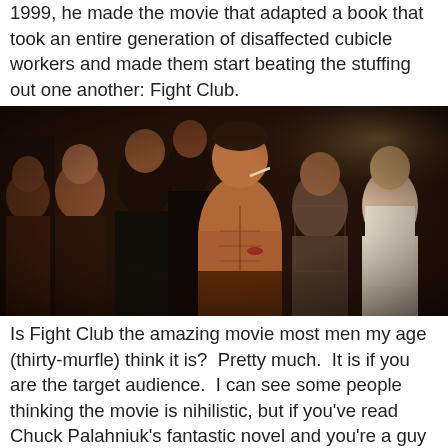1999, he made the movie that adapted a book that took an entire generation of disaffected cubicle workers and made them start beating the stuffing out one another: Fight Club.
[Figure (photo): A still from the movie Fight Club showing a group of men in a dark basement setting, with a shirtless muscular man in the center smoking a cigarette, surrounded by other men.]
Is Fight Club the amazing movie most men my age (thirty-murfle) think it is?  Pretty much.  It is if you are the target audience.  I can see some people thinking the movie is nihilistic, but if you've read Chuck Palahniuk's fantastic novel and you're a guy who has spent his whole life in jobs